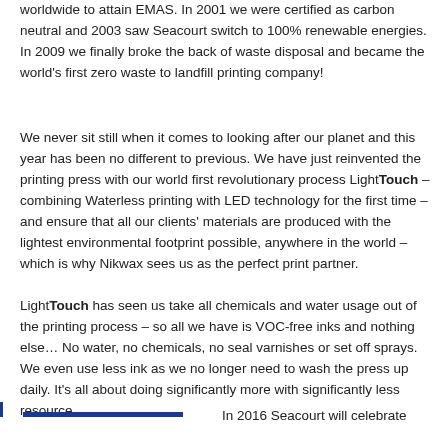worldwide to attain EMAS. In 2001 we were certified as carbon neutral and 2003 saw Seacourt switch to 100% renewable energies. In 2009 we finally broke the back of waste disposal and became the world's first zero waste to landfill printing company!
We never sit still when it comes to looking after our planet and this year has been no different to previous. We have just reinvented the printing press with our world first revolutionary process LightTouch – combining Waterless printing with LED technology for the first time – and ensure that all our clients' materials are produced with the lightest environmental footprint possible, anywhere in the world – which is why Nikwax sees us as the perfect print partner.
LightTouch has seen us take all chemicals and water usage out of the printing process – so all we have is VOC-free inks and nothing else… No water, no chemicals, no seal varnishes or set off sprays. We even use less ink as we no longer need to wash the press up daily. It's all about doing significantly more with significantly less resource.
In 2016 Seacourt will celebrate